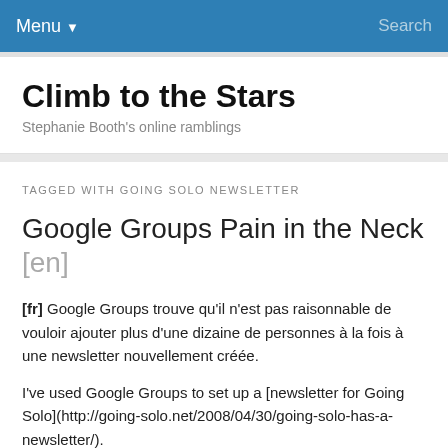Menu ▼   Search
Climb to the Stars
Stephanie Booth's online ramblings
TAGGED WITH GOING SOLO NEWSLETTER
Google Groups Pain in the Neck [en]
[fr] Google Groups trouve qu'il n'est pas raisonnable de vouloir ajouter plus d'une dizaine de personnes à la fois à une newsletter nouvellement créée.
I've used Google Groups to set up a [newsletter for Going Solo](http://going-solo.net/2008/04/30/going-solo-has-a-newsletter/).
[Here it is](http://groups.google.com/group/going-solo-news/), with added proof (if needed) of my hopeless lack of design sense.
When I set up the group, I did what most normal newsletter creators